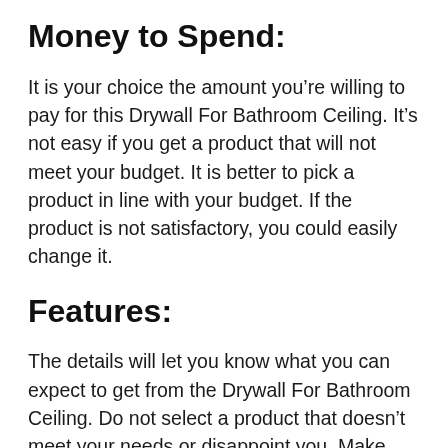Money to Spend:
It is your choice the amount you’re willing to pay for this Drywall For Bathroom Ceiling. It’s not easy if you get a product that will not meet your budget. It is better to pick a product in line with your budget. If the product is not satisfactory, you could easily change it.
Features:
The details will let you know what you can expect to get from the Drywall For Bathroom Ceiling. Do not select a product that doesn’t meet your needs or disappoint you. Make sure the Drywall For